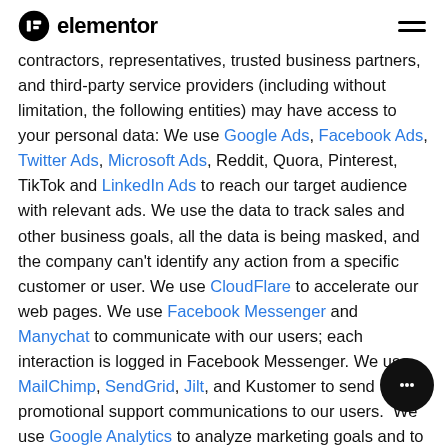elementor
contractors, representatives, trusted business partners, and third-party service providers (including without limitation, the following entities) may have access to your personal data: We use Google Ads, Facebook Ads, Twitter Ads, Microsoft Ads, Reddit, Quora, Pinterest, TikTok and LinkedIn Ads to reach our target audience with relevant ads. We use the data to track sales and other business goals, all the data is being masked, and the company can't identify any action from a specific customer or user. We use CloudFlare to accelerate our web pages. We use Facebook Messenger and Manychat to communicate with our users; each interaction is logged in Facebook Messenger. We use MailChimp, SendGrid, Jilt, and Kustomer to send promotional support communications to our users.  We use Google Analytics to analyze marketing goals and to integrate